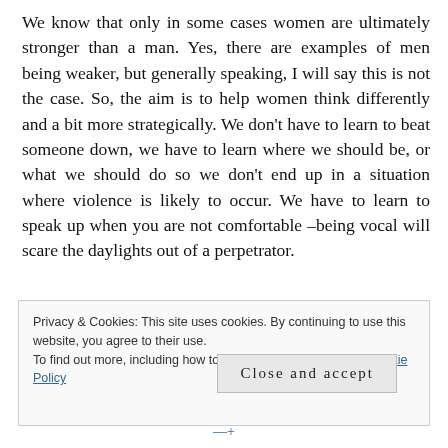We know that only in some cases women are ultimately stronger than a man. Yes, there are examples of men being weaker, but generally speaking, I will say this is not the case. So, the aim is to help women think differently and a bit more strategically. We don't have to learn to beat someone down, we have to learn where we should be, or what we should do so we don't end up in a situation where violence is likely to occur. We have to learn to speak up when you are not comfortable –being vocal will scare the daylights out of a perpetrator.
Privacy & Cookies: This site uses cookies. By continuing to use this website, you agree to their use. To find out more, including how to control cookies, see here: Cookie Policy
Close and accept